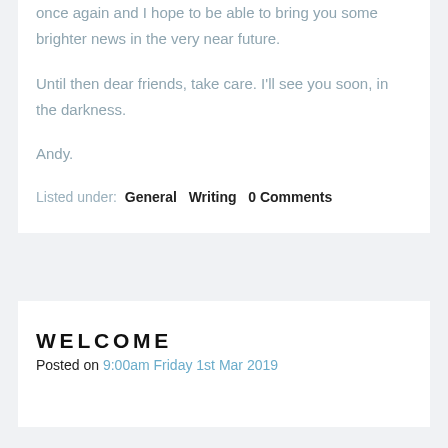once again and I hope to be able to bring you some brighter news in the very near future.
Until then dear friends, take care. I'll see you soon, in the darkness.
Andy.
Listed under:  General  Writing  0 Comments
WELCOME
Posted on 9:00am Friday 1st Mar 2019